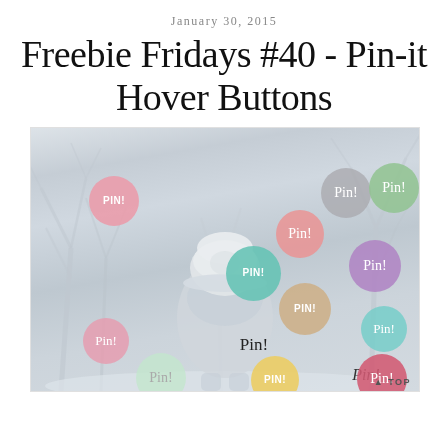January 30, 2015
Freebie Fridays #40 - Pin-it Hover Buttons
[Figure (photo): A faded winter photo of a person in a fur hat standing among bare trees in snow, overlaid with multiple colorful circular 'Pin!' button graphics in various styles (pastel pink, teal, salmon, gray, green, purple, tan, teal/aqua, pink/red, yellow, pink-outline). Also includes 'TOP' text label in corner.]